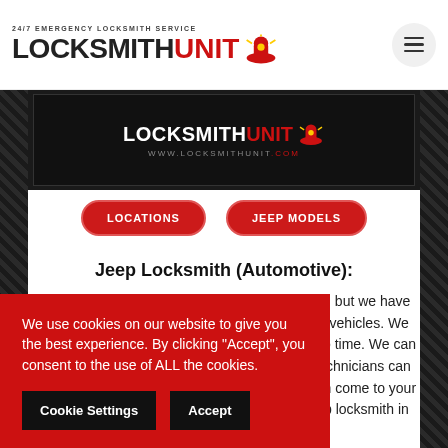24/7 EMERGENCY LOCKSMITH SERVICE — LOCKSMITHUNIT.COM
[Figure (logo): LocksmithUnit.com banner logo on dark background with website URL www.locksmithunit.com]
LOCATIONS
JEEP MODELS
Jeep Locksmith (Automotive):
Locksmith Unit works with a variety of car keys, but we have technicians specially trained to work with Jeep vehicles. We can make a replacement key for your Jeep in no time. We can program your Jeep key fob and our licensed technicians can cut and our transponder keys and more. We can come to your place of work or home. Call us today for a Jeep locksmith in your area!
We use cookies on our website to give you the best experience. By clicking "Accept", you consent to the use of ALL the cookies.
Cookie Settings
Accept